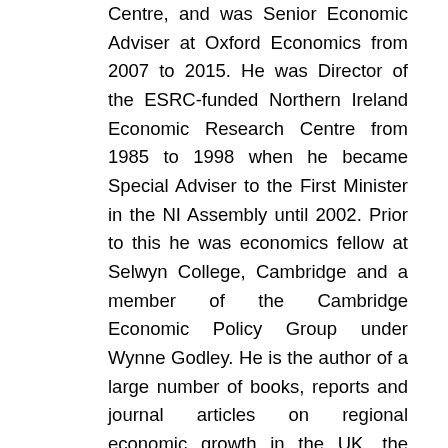Centre, and was Senior Economic Adviser at Oxford Economics from 2007 to 2015. He was Director of the ESRC-funded Northern Ireland Economic Research Centre from 1985 to 1998 when he became Special Adviser to the First Minister in the NI Assembly until 2002. Prior to this he was economics fellow at Selwyn College, Cambridge and a member of the Cambridge Economic Policy Group under Wynne Godley. He is the author of a large number of books, reports and journal articles on regional economic growth in the UK, the growth of small firms and electoral systems. He is currently working with Ken Coutts on a macro-economic model and forecasts for the UK economy and on the economic impact of Brexit.